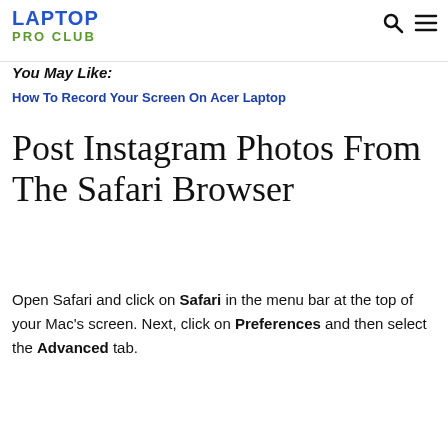LAPTOP PRO CLUB
You May Like:
How To Record Your Screen On Acer Laptop
Post Instagram Photos From The Safari Browser
Open Safari and click on Safari in the menu bar at the top of your Mac's screen. Next, click on Preferences and then select the Advanced tab.